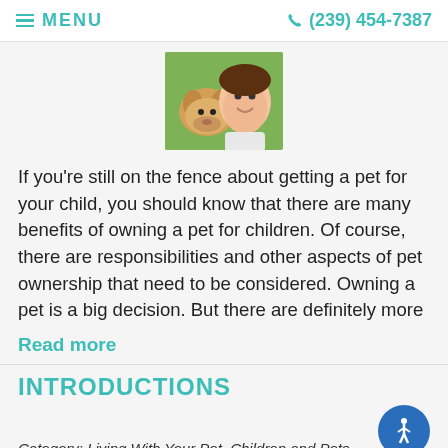MENU | (239) 454-7387
[Figure (photo): A child and a dog together outdoors, the dog appearing to lick the child's cheek]
If you're still on the fence about getting a pet for your child, you should know that there are many benefits of owning a pet for children. Of course, there are responsibilities and other aspects of pet ownership that need to be considered. Owning a pet is a big decision. But there are definitely more
Read more
INTRODUCTIONS
Category: Living With Your Pet, Children and Pets
[Figure (photo): Partial image at bottom of page showing a person's face/head]